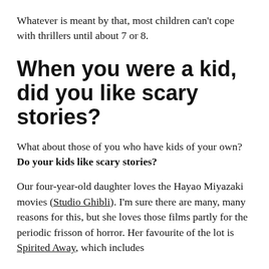Whatever is meant by that, most children can't cope with thrillers until about 7 or 8.
When you were a kid, did you like scary stories?
What about those of you who have kids of your own? Do your kids like scary stories?
Our four-year-old daughter loves the Hayao Miyazaki movies (Studio Ghibli). I'm sure there are many, many reasons for this, but she loves those films partly for the periodic frisson of horror. Her favourite of the lot is Spirited Away, which includes